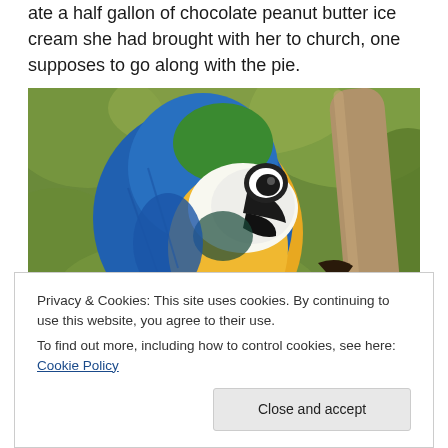ate a half gallon of chocolate peanut butter ice cream she had brought with her to church, one supposes to go along with the pie.
[Figure (photo): Close-up photograph of a blue-and-yellow macaw parrot perched on a branch, with green foliage background.]
Privacy & Cookies: This site uses cookies. By continuing to use this website, you agree to their use. To find out more, including how to control cookies, see here: Cookie Policy